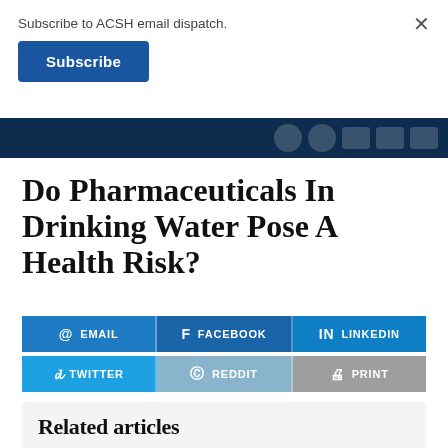Subscribe to ACSH email dispatch.
Subscribe
[Figure (screenshot): Dark blue navigation bar with social media icon buttons on the right side]
Do Pharmaceuticals In Drinking Water Pose A Health Risk?
[Figure (infographic): Social share buttons: EMAIL, FACEBOOK, LINKEDIN (top row); TWITTER, REDDIT, PRINT (bottom row)]
Related articles